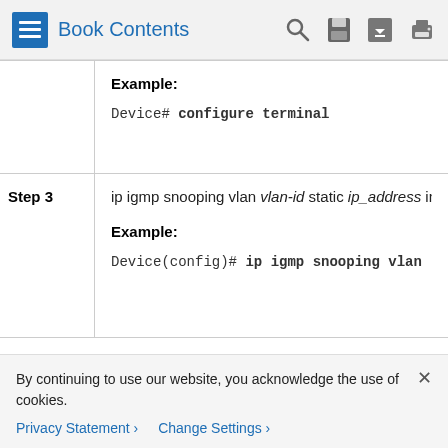Book Contents
|  | Example:
Device# configure terminal |
| Step 3 | ip igmp snooping vlan vlan-id static ip_address inter

Example:
Device(config)# ip igmp snooping vlan |
By continuing to use our website, you acknowledge the use of cookies.
Privacy Statement >
Change Settings >